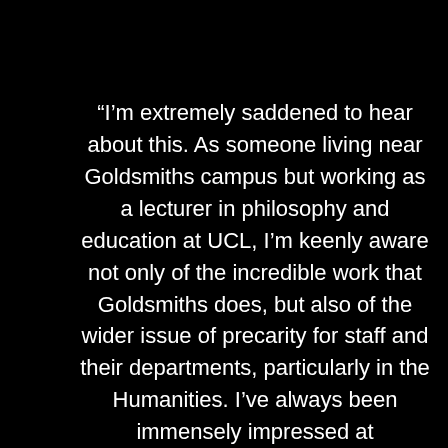“I’m extremely saddened to hear about this. As someone living near Goldsmiths campus but working as a lecturer in philosophy and education at UCL, I’m keenly aware not only of the incredible work that Goldsmiths does, but also of the wider issue of precarity for staff and their departments, particularly in the Humanities. I’ve always been immensely impressed at